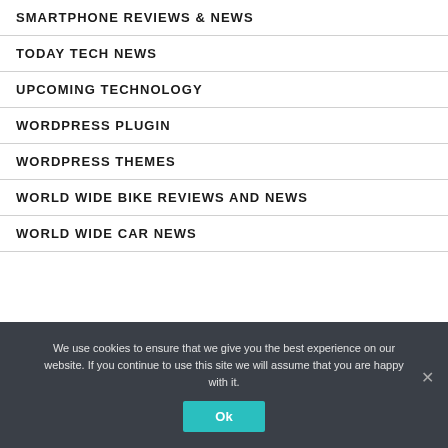SMARTPHONE REVIEWS & NEWS
TODAY TECH NEWS
UPCOMING TECHNOLOGY
WORDPRESS PLUGIN
WORDPRESS THEMES
WORLD WIDE BIKE REVIEWS AND NEWS
WORLD WIDE CAR NEWS
We use cookies to ensure that we give you the best experience on our website. If you continue to use this site we will assume that you are happy with it.
Ok